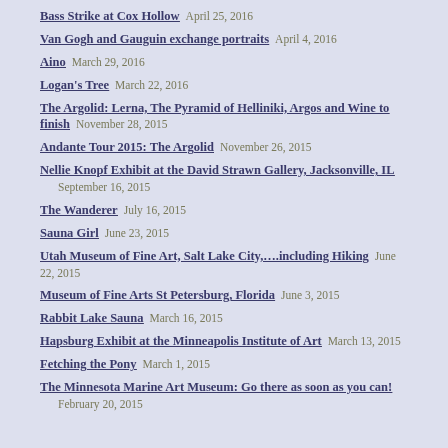Bass Strike at Cox Hollow   April 25, 2016
Van Gogh and Gauguin exchange portraits   April 4, 2016
Aino   March 29, 2016
Logan's Tree   March 22, 2016
The Argolid: Lerna, The Pyramid of Helliniki, Argos and Wine to finish   November 28, 2015
Andante Tour 2015: The Argolid   November 26, 2015
Nellie Knopf Exhibit at the David Strawn Gallery, Jacksonville, IL   September 16, 2015
The Wanderer   July 16, 2015
Sauna Girl   June 23, 2015
Utah Museum of Fine Art, Salt Lake City,….including Hiking   June 22, 2015
Museum of Fine Arts St Petersburg, Florida   June 3, 2015
Rabbit Lake Sauna   March 16, 2015
Hapsburg Exhibit at the Minneapolis Institute of Art   March 13, 2015
Fetching the Pony   March 1, 2015
The Minnesota Marine Art Museum: Go there as soon as you can!   February 20, 2015